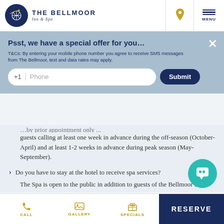THE BELLMOOR Inn & Spa
Psst, we have a special offer for you…
T&Cs: By entering your mobile phone number you agree to receive SMS messages from The Bellmoor, text and data rates may apply.
guests calling at least one week in advance during the off-season (October-April) and at least 1-2 weeks in advance during peak season (May-September).
Do you have to stay at the hotel to receive spa services?
The Spa is open to the public in addition to guests of the Bellmoor Inn!
Do spa guests have access to hotel amenities such as the hot…
CALL  GALLERY  SPECIALS  RESERVE